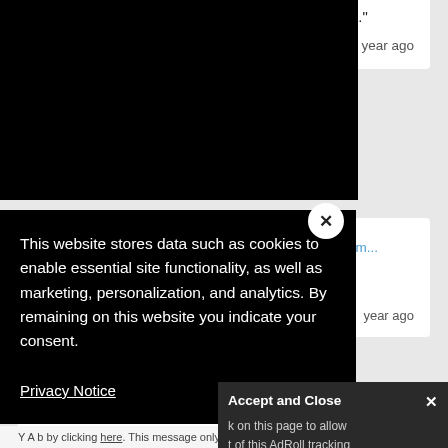background to icons to make them easier to click."
over 1 year ago
Katelin J commented on the article Top 10 Comm...
"Thank you! I am always learning!"
year ago
p--adjus...
use to
ng on the
This website stores data such as cookies to enable essential site functionality, as well as marketing, personalization, and analytics. By remaining on this website you indicate your consent.
Privacy Notice
Accept and Close ✕
k on this page to allow t of this AdRoll tracking
Y A b by clicking here. This message only appears once.